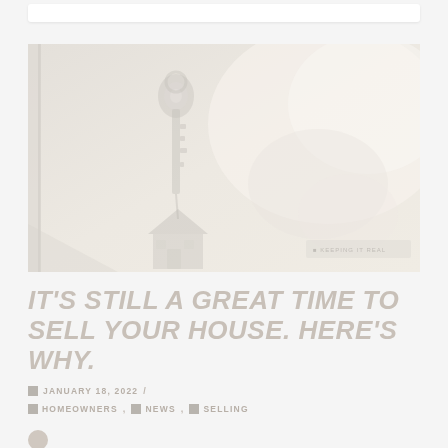[Figure (photo): Faded/washed-out photo of house keys with a small house-shaped keychain, against a bright interior background. Very light and desaturated.]
IT'S STILL A GREAT TIME TO SELL YOUR HOUSE. HERE'S WHY.
JANUARY 18, 2022 / HOMEOWNERS , NEWS , SELLING